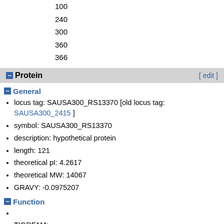100
240
300
360
366
Protein
General
locus tag: SAUSA300_RS13370 [old locus tag: SAUSA300_2415 ]
symbol: SAUSA300_RS13370
description: hypothetical protein
length: 121
theoretical pI: 4.2617
theoretical MW: 14067
GRAVY: -0.0975207
Function
TIGRFAM:
TheSEED:
PFAM:
Structure, modifications & interactions